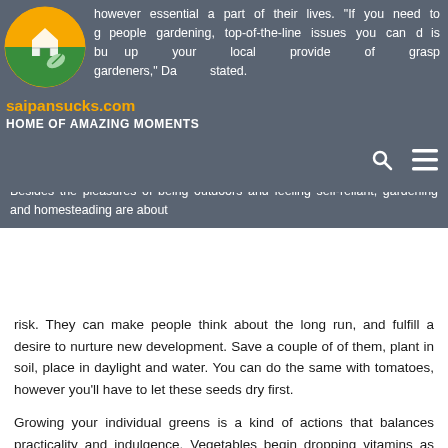however essential a part of their lives. "If you need to get people gardening, top-of-the-line issues you can do is build up your local provide of grasp gardeners," Darsheen stated.
[Figure (logo): Circular logo with orange and green halves, house icon and leaf, for saipansucks.com]
saipansucks.com
HOME OF AMAZING MOMENTS
Besides the pleasures of being outdoors and feeling self-reliant, gardening and homesteading are about risk. They can make people think about the long run, and fulfill a desire to nurture new development. Save a couple of of them, plant in soil, place in daylight and water. You can do the same with tomatoes, however you'll have to let these seeds dry first.
Growing your individual greens is a kind of actions that balances practicality and indulgence. Vegetables begin dropping vitamins as soon as they're harvested, and high quality diminishes as sugars are was starches.
Soil … Read More